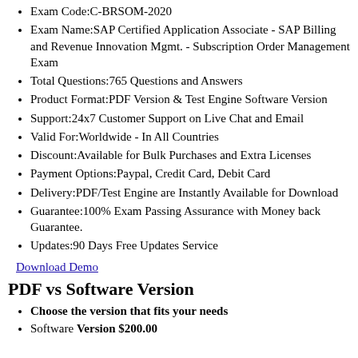Exam Code:C-BRSOM-2020
Exam Name:SAP Certified Application Associate - SAP Billing and Revenue Innovation Mgmt. - Subscription Order Management Exam
Total Questions:765 Questions and Answers
Product Format:PDF Version & Test Engine Software Version
Support:24x7 Customer Support on Live Chat and Email
Valid For:Worldwide - In All Countries
Discount:Available for Bulk Purchases and Extra Licenses
Payment Options:Paypal, Credit Card, Debit Card
Delivery:PDF/Test Engine are Instantly Available for Download
Guarantee:100% Exam Passing Assurance with Money back Guarantee.
Updates:90 Days Free Updates Service
Download Demo
PDF vs Software Version
Choose the version that fits your needs
Software Version $200.00